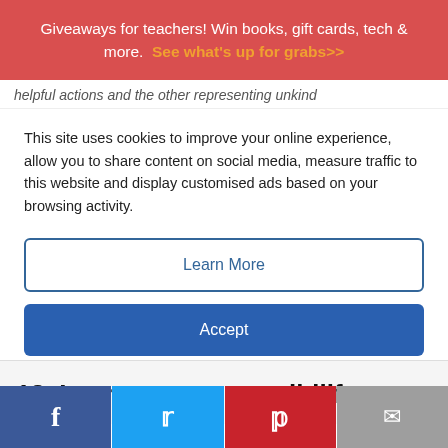Giveaways for teachers! Win books, gift cards, tech & more. See what's up for grabs>>
helpful actions and the other representing unkind
This site uses cookies to improve your online experience, allow you to share content on social media, measure traffic to this website and display customised ads based on your browsing activity.
Learn More
Accept
18. Learn to respect wildlife.
f  t  p  mail